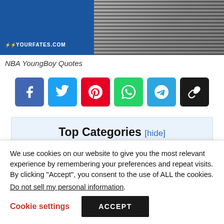[Figure (photo): Website header image showing a person with tattoos in a striped outfit, blue background on left, logo bar reading YOURFATES.COM]
NBA YoungBoy Quotes
[Figure (infographic): Row of six social sharing buttons: Facebook, Twitter, Pinterest, WhatsApp, Telegram, Copy Link]
Top Categories [hide]
NBA YoungBoy Quotes
We use cookies on our website to give you the most relevant experience by remembering your preferences and repeat visits. By clicking “Accept”, you consent to the use of ALL the cookies.
Do not sell my personal information.
Cookie settings  ACCEPT